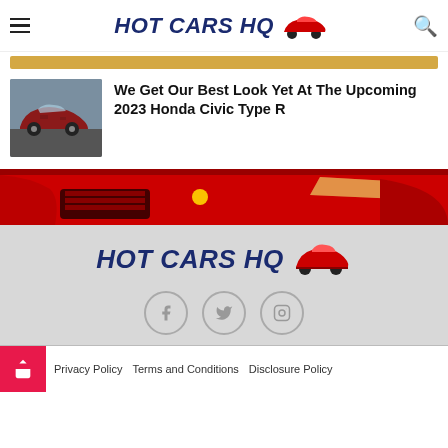HOT CARS HQ
[Figure (photo): Thumbnail of a red Honda Civic Type R prototype on a track, camouflaged]
We Get Our Best Look Yet At The Upcoming 2023 Honda Civic Type R
[Figure (photo): Ferrari banner showing front detail of red Ferrari cars at a racing circuit with Italian flag colors]
[Figure (logo): HOT CARS HQ logo with red sports car graphic in footer]
[Figure (infographic): Social media icons: Facebook, Twitter, Instagram in circles]
Privacy Policy   Terms and Conditions   Disclosure Policy